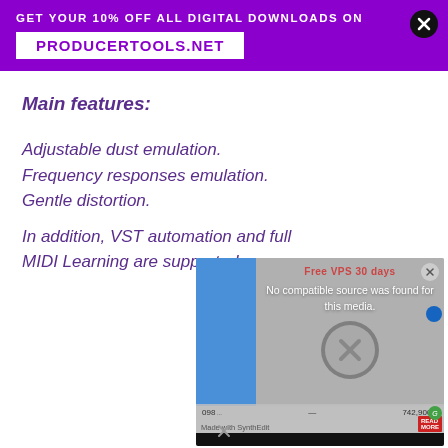GET YOUR 10% OFF ALL DIGITAL DOWNLOADS ON PRODUCERTOOLS.NET
Main features:
Adjustable dust emulation.
Frequency responses emulation.
Gentle distortion.
In addition, VST automation and full MIDI Learning are supported.
[Figure (screenshot): Video player overlay showing 'No compatible source was found for this media.' with a large X/close button and bottom bar with text 'The article is guided at the website link in the description']